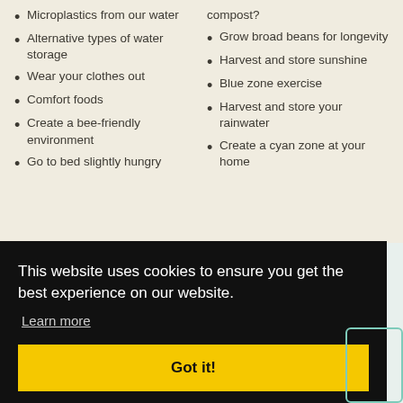Microplastics from our water
Alternative types of water storage
Wear your clothes out
Comfort foods
Create a bee-friendly environment
Go to bed slightly hungry
compost?
Grow broad beans for longevity
Harvest and store sunshine
Blue zone exercise
Harvest and store your rainwater
Create a cyan zone at your home
This website uses cookies to ensure you get the best experience on our website.
Learn more
Got it!